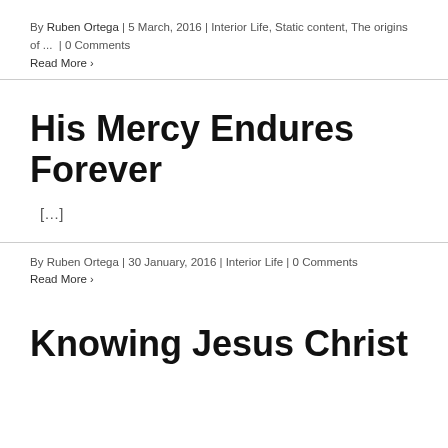By Ruben Ortega | 5 March, 2016 | Interior Life, Static content, The origins of ... | 0 Comments
Read More ›
His Mercy Endures Forever
[…]
By Ruben Ortega | 30 January, 2016 | Interior Life | 0 Comments
Read More ›
Knowing Jesus Christ